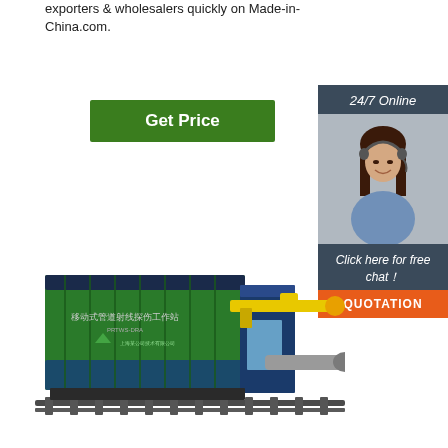exporters & wholesalers quickly on Made-in-China.com.
[Figure (other): Green 'Get Price' button]
[Figure (other): 24/7 Online customer service sidebar with photo of woman with headset, 'Click here for free chat!' text, and orange QUOTATION button]
[Figure (illustration): 3D rendering of a mobile pipeline radiographic inspection workstation (移动式管道射线探伤工作站) - a green shipping container mounted on a rail system with a yellow crane arm extending from it]